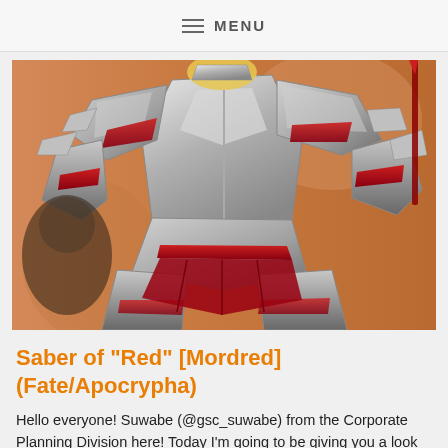MENU
[Figure (photo): A detailed figure/statue of Saber of Red (Mordred) from Fate/Apocrypha, wearing silver and red armour, posed dynamically against an orange background.]
Saber of “Red” [Mordred] (Fate/Apocrypha)
Hello everyone! Suwabe (@gsc_suwabe) from the Corporate Planning Division here! Today I’m going to be giving you a look at Plus the Saber...